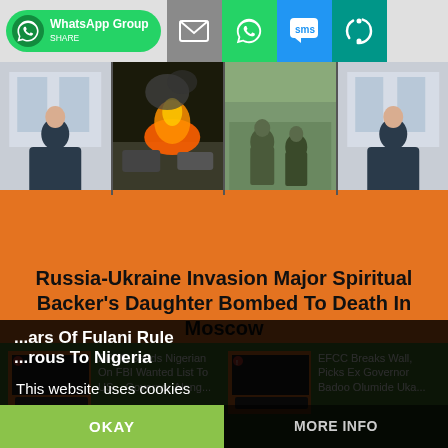[Figure (screenshot): Share bar with WhatsApp Group button, email icon (gray), WhatsApp icon (green), SMS icon (blue), and another icon (teal)]
[Figure (photo): News video strip: four panels showing a news anchor woman, a fire/explosion scene, soldiers in field, and the news anchor again]
Russia-Ukraine Invasion Major Spiritual Backer’s Daughter Bombed To Death In Moscow
[Figure (screenshot): Article card: EFCC Sends Nigerian On FBI Wanted List To US... Governor Along...]
[Figure (screenshot): Article card: EFCC Breaks Wall, Picks Ex Governor Badoo Olumide Uka...]
This website uses cookies
OKAY
MORE INFO
...ars Of Fulani Rule ...rous To Nigeria